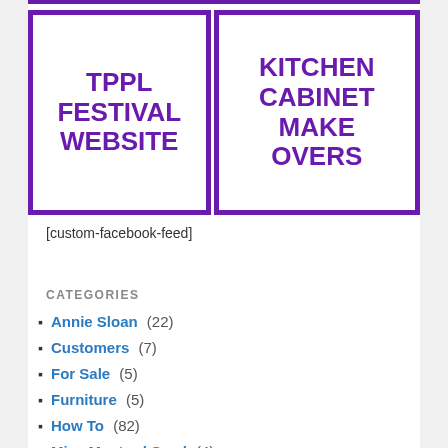[Figure (other): Purple-bordered box with text TPPL FESTIVAL WEBSITE in bold purple uppercase letters]
[Figure (other): Purple-bordered box with text KITCHEN CABINET MAKE OVERS in bold purple uppercase letters]
[custom-facebook-feed]
CATEGORIES
Annie Sloan (22)
Customers (7)
For Sale (5)
Furniture (5)
How To (82)
Miss Mustard Seed (4)
Projects (10)
Promotions (5)
Stores (5)